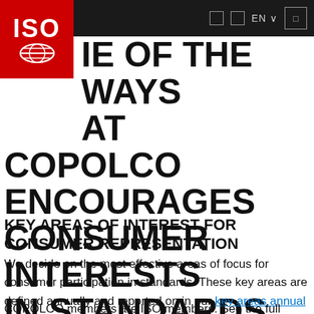EN
[Figure (logo): ISO logo: red rectangle with white ISO text and globe icon]
ONE OF THE WAYS THAT COPOLCO ENCOURAGES CONSUMER INTERESTS IN STANDARDS
KEY AREAS OF INTEREST FOR CONSUMER REPRESENTATION
We decide on the most effective areas of focus for consumer participation in standards. These key areas are defined annually and reported on in our key areas annual report.
COPOLCO members are ISO members. See the full